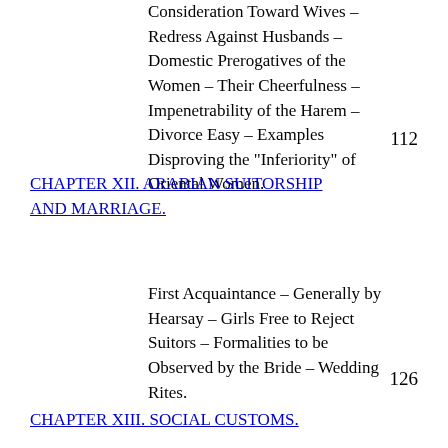Consideration Toward Wives – Redress Against Husbands – Domestic Prerogatives of the Women – Their Cheerfulness – Impenetrability of the Harem – Divorce Easy – Examples Disproving the "Inferiority" of Oriental Women.
112
CHAPTER XII. ARABIAN SUITORSHIP AND MARRIAGE.
First Acquaintance – Generally by Hearsay – Girls Free to Reject Suitors – Formalities to be Observed by the Bride – Wedding Rites.
126
CHAPTER XIII. SOCIAL CUSTOMS.